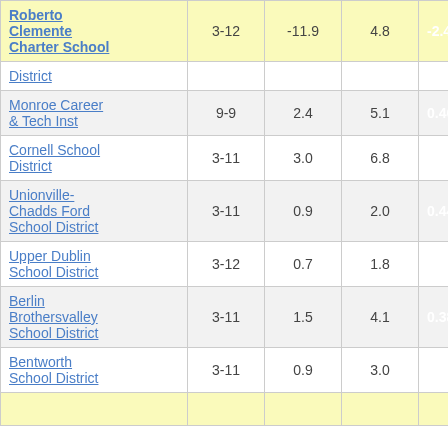| School/District | Grades | Col3 | Col4 | Score | Extra |
| --- | --- | --- | --- | --- | --- |
| Roberto Clemente Charter School | 3-12 | -11.9 | 4.8 | -2.48 |  |
| District |  |  |  |  |  |
| Monroe Career & Tech Inst | 9-9 | 2.4 | 5.1 | 0.46 |  |
| Cornell School District | 3-11 | 3.0 | 6.8 | 0.44 |  |
| Unionville-Chadds Ford School District | 3-11 | 0.9 | 2.0 | 0.44 |  |
| Upper Dublin School District | 3-12 | 0.7 | 1.8 | 0.41 |  |
| Berlin Brothersvalley School District | 3-11 | 1.5 | 4.1 | 0.38 |  |
| Bentworth School District | 3-11 | 0.9 | 3.0 | 0.31 |  |